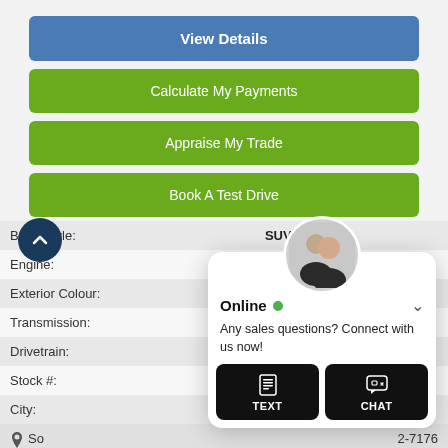[Figure (screenshot): Blue 'View Details' button]
[Figure (screenshot): Green 'Calculate My Payments' button]
[Figure (screenshot): Green 'Appraise My Trade' button]
[Figure (screenshot): Green 'Book A Test Drive' button]
| Body Style: | SUV |
| Engine: | 3.2L 6cyl |
| Exterior Colour: | Sport Red |
| Transmission: | Automatic |
| Drivetrain: |  |
| Stock #: |  |
| City: |  |
So... Chrys... 2-7176
[Figure (screenshot): Online chat widget overlay with avatar photo of a man and woman, 'Online' status with green dot, text 'Any sales questions? Connect with us now!', TEXT button and CHAT button]